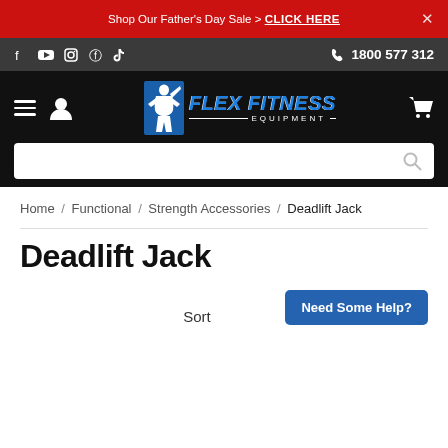Shop Our Father's Day Sale > CLICK HERE
1800 577 312
[Figure (logo): Flex Fitness Equipment logo with blue silhouette figure and blue bold italic text]
Home / Functional / Strength Accessories / Deadlift Jack
Deadlift Jack
Need Some Help?
Sort